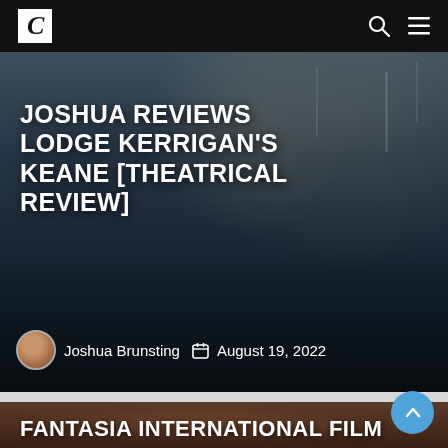C [logo] [search icon] [menu icon]
JOSHUA REVIEWS LODGE KERRIGAN'S KEANE [THEATRICAL REVIEW]
Joshua Brunsting  August 19, 2022
[Figure (photo): Dark cinematic still showing a figure lying on grass near a road at dusk with utility poles in the background]
FANTASIA INTERNATIONAL FILM
[Figure (photo): Person with blindfold and colorful streamers, partial view of second article card]